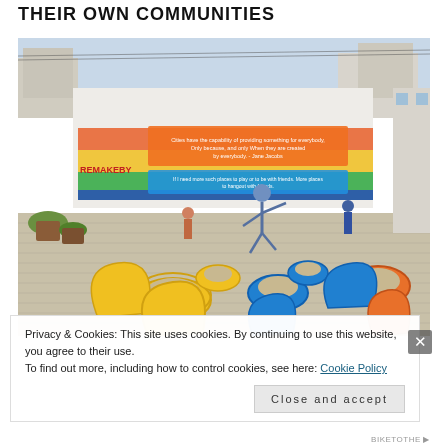THEIR OWN COMMUNITIES
[Figure (photo): Children playing in an urban playground made from colorful painted tires (yellow, blue, orange) arranged on a brick-paved courtyard. A colorful mural/banner on the wall behind reads text including a Jane Jacobs quote and 'REMAKEBY'. Adults and children are visible playing and interacting.]
Privacy & Cookies: This site uses cookies. By continuing to use this website, you agree to their use.
To find out more, including how to control cookies, see here: Cookie Policy
Close and accept